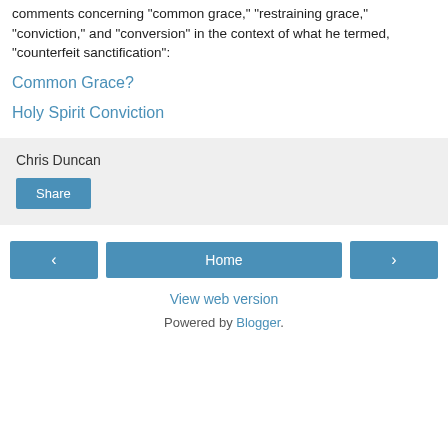comments concerning "common grace," "restraining grace," "conviction," and "conversion" in the context of what he termed, "counterfeit sanctification":
Common Grace?
Holy Spirit Conviction
Chris Duncan
Share
‹
Home
›
View web version
Powered by Blogger.